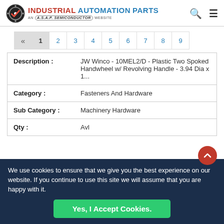[Figure (logo): Industrial Automation Parts logo - AN A.S.A.P. SEMICONDUCTOR WEBSITE]
« 1 2 3 4 5 6 7 8 9 (pagination)
| Description : | JW Winco - 10MEL2/D - Plastic Two Spoked Handwheel w/ Revolving Handle - 3.94 Dia x 1... |
| Category : | Fasteners And Hardware |
| Sub Category : | Machinery Hardware |
| Qty : | Avl |
We use cookies to ensure that we give you the best experience on our website. If you continue to use this site we will assume that you are happy with it.
Yes, I Accept Cookies.